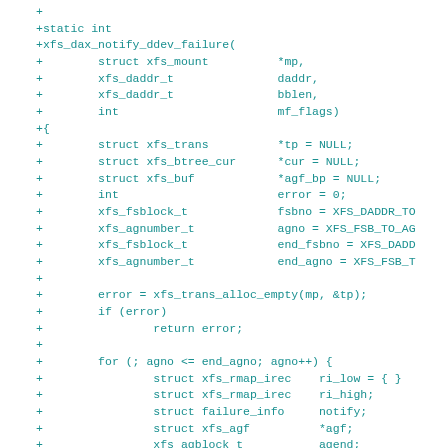Diff code snippet showing xfs_dax_notify_ddev_failure function definition in C